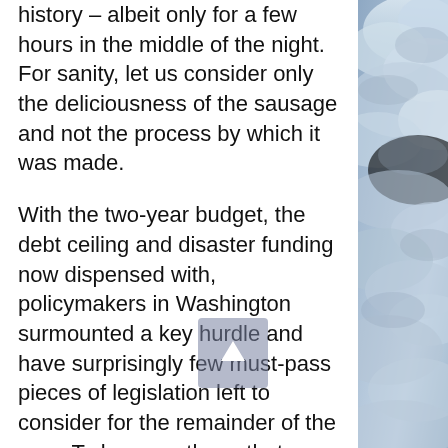history – albeit only for a few hours in the middle of the night. For sanity, let us consider only the deliciousness of the sausage and not the process by which it was made.
With the two-year budget, the debt ceiling and disaster funding now dispensed with, policymakers in Washington surmounted a key hurdle and have surprisingly few must-pass pieces of legislation left to consider for the remainder of the year. To be sure: those that remain are incredibly important, with significant implications for the country and many of its citizens. Quantitatively, though, GOP leaders on Capitol Hill have effectively cleared the decks to allow their members to spend
[Figure (photo): Side panel showing a blue-grey cloudy sky photograph]